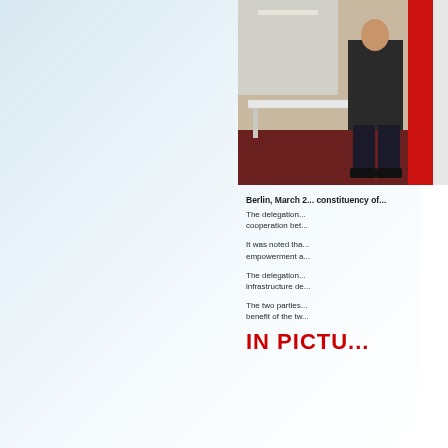[Figure (photo): Photo of people at an event, partially cropped on right side of page. A person in a dark suit is visible near a table with a white tablecloth, and a red element (possibly a flag or curtain) is in the background.]
Berlin, March 2... constituency of...
The delegation... cooperation bet...
It was noted tha... empowerment a...
The delegation... infrastructure de...
The two parties... benefit of the tw...
IN PICTU...